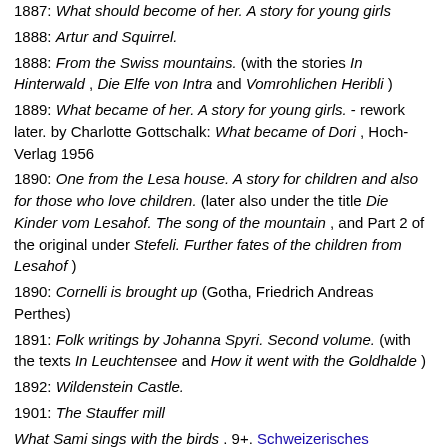1887: What should become of her. A story for young girls
1888: Artur and Squirrel.
1888: From the Swiss mountains. (with the stories In Hinterwald , Die Elfe von Intra and Vomrohlichen Heribli )
1889: What became of her. A story for young girls. - rework later. by Charlotte Gottschalk: What became of Dori , Hoch-Verlag 1956
1890: One from the Lesa house. A story for children and also for those who love children. (later also under the title Die Kinder vom Lesahof. The song of the mountain , and Part 2 of the original under Stefeli. Further fates of the children from Lesahof )
1890: Cornelli is brought up (Gotha, Friedrich Andreas Perthes)
1891: Folk writings by Johanna Spyri. Second volume. (with the texts In Leuchtensee and How it went with the Goldhalde )
1892: Wildenstein Castle.
1901: The Stauffer mill
What Sami sings with the birds . 9+. Schweizerisches